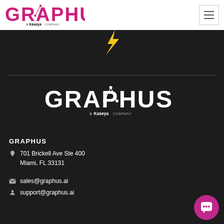[Figure (logo): Graphus logo with pink/magenta text and network graph icon, 'a Kaseya COMPANY' subtitle, on white background header]
[Figure (logo): Graphus white logo centered on dark background, 'a Kaseya COMPANY' subtitle in white]
GRAPHUS
701 Brickell Ave Ste 400
Miami, FL 33131
sales@graphus.ai
support@graphus.ai